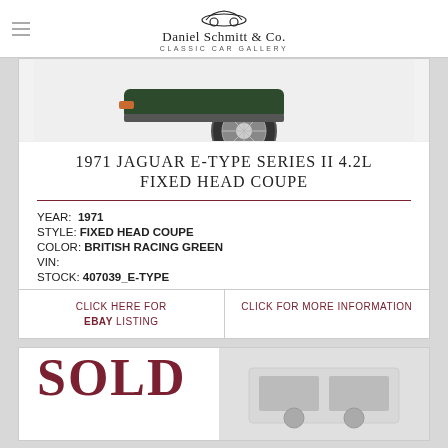Daniel Schmitt & Co. Classic Car Gallery
[Figure (photo): Partial front/wheel view of a dark green classic Jaguar E-Type, showing wheel and front bumper]
1971 JAGUAR E-TYPE SERIES II 4.2L FIXED HEAD COUPE
YEAR: 1971
STYLE: FIXED HEAD COUPE
COLOR: BRITISH RACING GREEN
VIN:
STOCK: 407039_E-TYPE
CLICK HERE FOR EBAY LISTING
CLICK FOR MORE INFORMATION
[Figure (photo): Partial view of another classic car listing showing SOLD overlay and white interior/car detail]